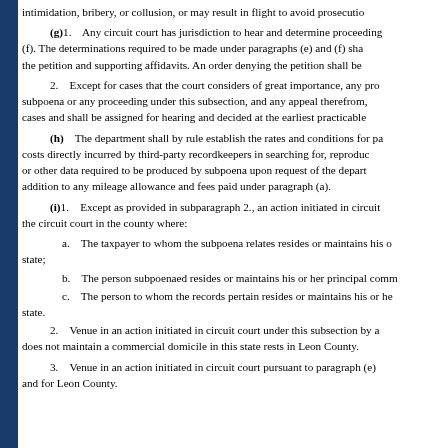intimidation, bribery, or collusion, or may result in flight to avoid prosecution
(g)1.    Any circuit court has jurisdiction to hear and determine proceedings (f). The determinations required to be made under paragraphs (e) and (f) shall the petition and supporting affidavits. An order denying the petition shall be e
2.    Except for cases that the court considers of great importance, any pro subpoena or any proceeding under this subsection, and any appeal therefrom, cases and shall be assigned for hearing and decided at the earliest practicable
(h)    The department shall by rule establish the rates and conditions for pa costs directly incurred by third-party recordkeepers in searching for, reprodu or other data required to be produced by subpoena upon request of the depart addition to any mileage allowance and fees paid under paragraph (a).
(i)1.    Except as provided in subparagraph 2., an action initiated in circuit the circuit court in the county where:
a.    The taxpayer to whom the subpoena relates resides or maintains his o state;
b.    The person subpoenaed resides or maintains his or her principal comm
c.    The person to whom the records pertain resides or maintains his or he state.
2.    Venue in an action initiated in circuit court under this subsection by a does not maintain a commercial domicile in this state rests in Leon County.
3.    Venue in an action initiated in circuit court pursuant to paragraph (e) and for Leon County.